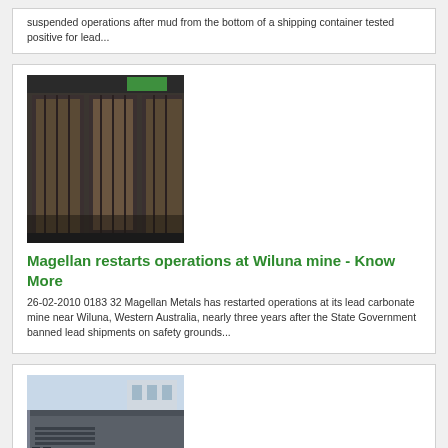suspended operations after mud from the bottom of a shipping container tested positive for lead...
[Figure (photo): Industrial equipment - large metal frames or furnace units in a factory or industrial setting]
Magellan restarts operations at Wiluna mine - Know More
26-02-2010 0183 32 Magellan Metals has restarted operations at its lead carbonate mine near Wiluna, Western Australia, nearly three years after the State Government banned lead shipments on safety grounds...
[Figure (photo): Industrial or mining equipment - appears to be a large metal structure or vehicle component in a workshop or facility]